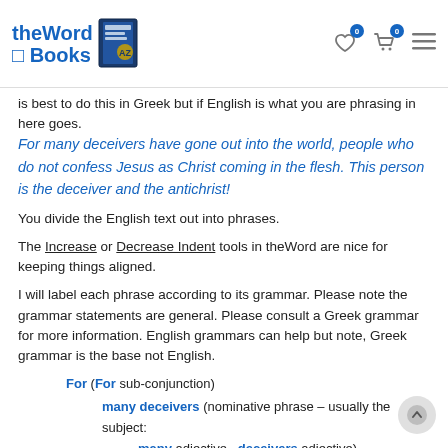theWord Books [logo with book image] [wish list icon 0] [cart icon 0] [menu icon]
is best to do this in Greek but if English is what you are phrasing in here goes.
For many deceivers have gone out into the world, people who do not confess Jesus as Christ coming in the flesh. This person is the deceiver and the antichrist!
You divide the English text out into phrases.
The Increase or Decrease Indent tools in theWord are nice for keeping things aligned.
I will label each phrase according to its grammar. Please note the grammar statements are general. Please consult a Greek grammar for more information. English grammars can help but note, Greek grammar is the base not English.
For (For sub-conjunction)
many deceivers (nominative phrase – usually the subject: many adjective , deceivers adjective)
have gone out (have gone out verb phrase – usually the most important element in the Greek sentence: indicative)